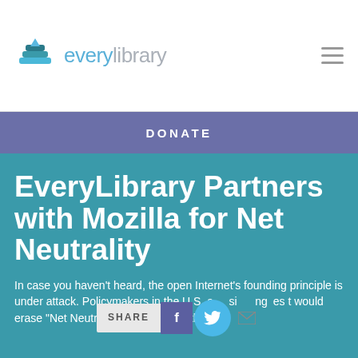everylibrary
DONATE
EveryLibrary Partners with Mozilla for Net Neutrality
In case you haven't heard, the open Internet's founding principle is under attack. Policymakers in the U.S. and discussing laws that would erase "Net Neutrality," the principle that all